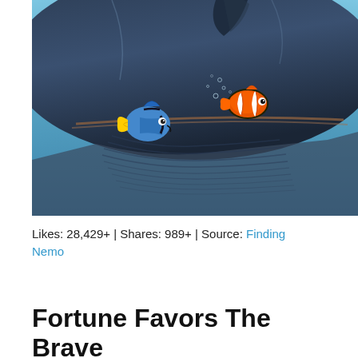[Figure (illustration): Scene from Finding Nemo showing Dory (blue tang fish) and Marlin (clownfish) swimming in front of a large whale underwater. The whale fills most of the frame with blue-gray skin and baleen plates visible.]
Likes: 28,429+ | Shares: 989+ | Source: Finding Nemo
Fortune Favors The Brave